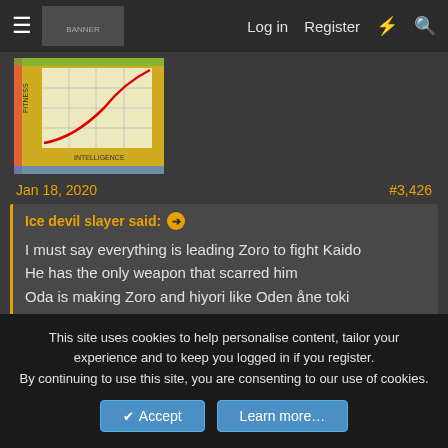Log in  Register
[Figure (screenshot): Banner image showing anime/manga style graphic with a fitness vs intelligence chart]
Jan 18, 2020    #3,426
Ice devil slayer said: ➔

I must say everything is leading Zoro to fight Kaido
He has the only weapon that scarred him
Oda is making Zoro and hiyori like Oden åne toki
The biggest fact is that he's after Orochi and kaido would beat anyone
Who hurt or kill this bitch
Two main reasons:
This site uses cookies to help personalise content, tailor your experience and to keep you logged in if you register.
By continuing to use this site, you are consenting to our use of cookies.